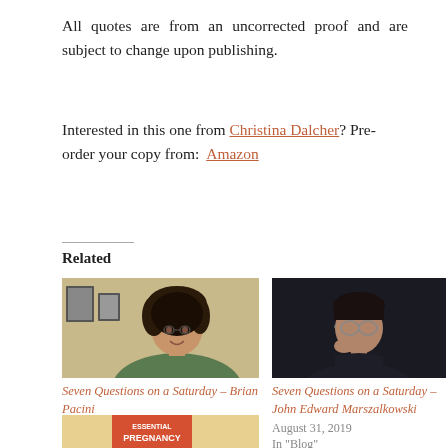All quotes are from an uncorrected proof and are subject to change upon publishing.
Interested in this one from Christina Dalcher? Pre-order your copy from: Amazon
Related
[Figure (photo): Photo of Brian Pacini, a man with curly dark hair wearing a green shirt, sitting indoors]
Seven Questions on a Saturday – Brian Pacini
August 17, 2019
In "Blog"
[Figure (photo): Photo of John Edward Marszalkowski, a man wearing glasses and a dark jacket, posed against a dark background]
Seven Questions on a Saturday – John Edward Marszalkowski
August 31, 2019
In "Blog"
[Figure (photo): Partial view of a book cover showing 'ESSENTIAL PREGNANCY' text]